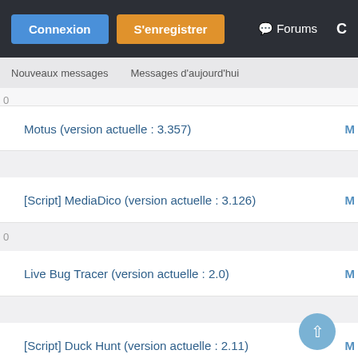Connexion | S'enregistrer | Forums
Nouveaux messages | Messages d'aujourd'hui
Motus (version actuelle : 3.357)
[Script] MediaDico (version actuelle : 3.126)
Live Bug Tracer (version actuelle : 2.0)
[Script] Duck Hunt (version actuelle : 2.11)
[Script] Reanimator (version actuelle : 1.2)